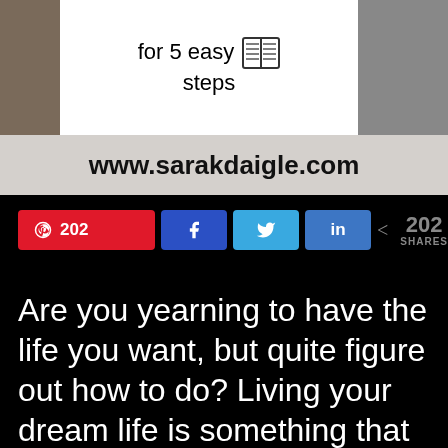[Figure (illustration): Banner image with partial book/reading graphic on white background center, brownish blurred image on left, gray on right. Bottom strip is light gray with bold text 'www.sarakdaigle.com'. Center white area shows text 'for 5 easy steps' with a book icon.]
[Figure (infographic): Social media share bar with Pinterest button showing 202 count, Facebook button, Twitter button, LinkedIn button, and share count showing 202 SHARES on dark background.]
Are you yearning to have the life you want, but quite figure out how to do? Living your dream life is something that society has conditioned us to think is nearly